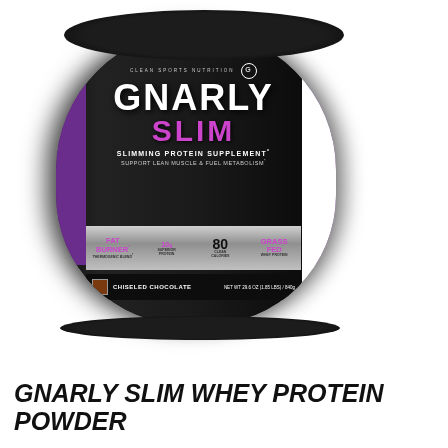[Figure (photo): Black cylindrical protein powder container with purple accents. Brand name GNARLY SLIM in large text, subtitle SLIMMING PROTEIN SUPPLEMENT. Features: NO ARTIFICIAL COLORS, FLAVORS OR SWEETENERS, NO GMOS, NO HORMONES, NO ANTIBIOTICS, NO SOY, NO GLUTEN. Silver banner shows FAT BURNER, 10g SUPERIOR PROTEIN, 80 CLEAN CALORIES, GRASS FED WHEY PROTEIN. Flavor: CHISELED CHOCOLATE. Net wt 29.6 oz (1.85 LBS) / 840g. Nutrition facts panel visible on right side.]
GNARLY SLIM WHEY PROTEIN POWDER